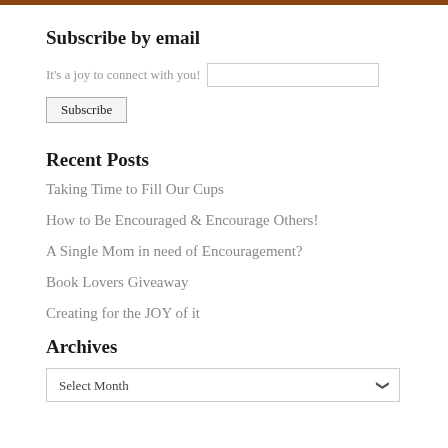Subscribe by email
It's a joy to connect with you!
Recent Posts
Taking Time to Fill Our Cups
How to Be Encouraged & Encourage Others!
A Single Mom in need of Encouragement?
Book Lovers Giveaway
Creating for the JOY of it
Archives
Select Month